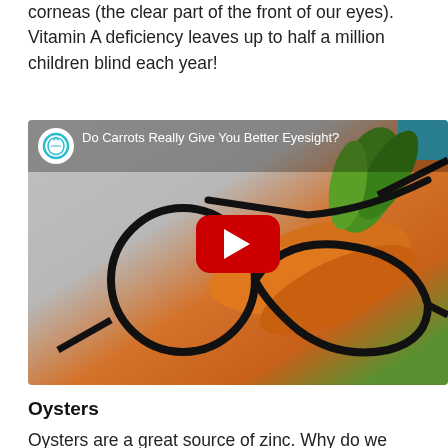corneas (the clear part of the front of our eyes). Vitamin A deficiency leaves up to half a million children blind each year!
[Figure (screenshot): YouTube video thumbnail titled 'Do Carrots Really Give You Better Eyesight?' showing glasses and carrots with a red play button]
Oysters
Oysters are a great source of zinc. Why do we need zinc?